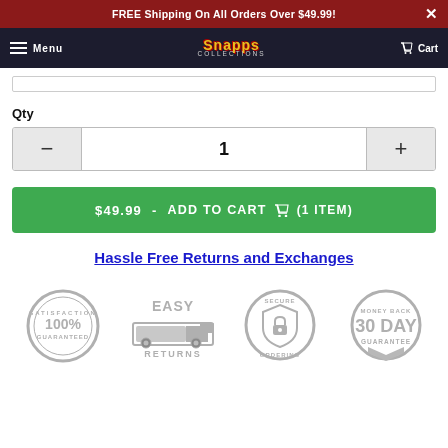FREE Shipping On All Orders Over $49.99!
Menu  [Logo: Snapps]  Cart
Qty
1
$49.99  -  ADD TO CART  (1 ITEM)
Hassle Free Returns and Exchanges
[Figure (infographic): Four trust badge icons in gray: 100% Satisfaction Guaranteed, Easy Returns (truck icon), Secure Ordering (lock shield), Money Back 30 Day Guarantee]